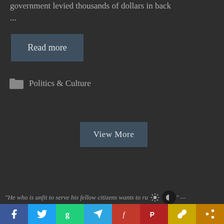government levied thousands of dollars in back ...
Read more
Politics & Culture
View More
"He who is unfit to serve his fellow citizens wants to ru..." —
Social share bar: Facebook, Twitter, Gab, Telegram, MeWe, Parler, Copy Link, Share